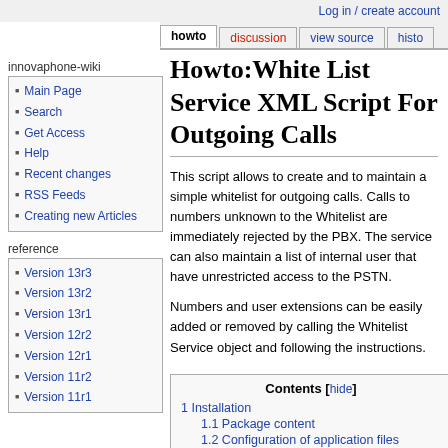Log in / create account
howto | discussion | view source | histo
Howto:White List Service XML Script For Outgoing Calls
This script allows to create and to maintain a simple whitelist for outgoing calls. Calls to numbers unknown to the Whitelist are immediately rejected by the PBX. The service can also maintain a list of internal user that have unrestricted access to the PSTN.
Numbers and user extensions can be easily added or removed by calling the Whitelist Service object and following the instructions.
innovaphone-wiki
Main Page
Search
Get Access
Help
Recent changes
RSS Feeds
Creating new Articles
reference
Version 13r3
Version 13r2
Version 13r1
Version 12r2
Version 12r1
Version 11r2
Version 11r1
| Contents [hide] |
| --- |
| 1 Installation |
| 1.1 Package content |
| 1.2 Configuration of application files |
| 1.3 PBX configuration |